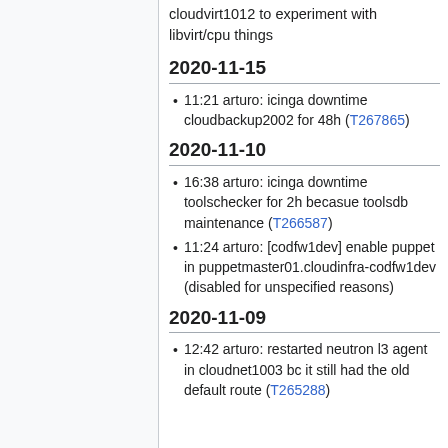cloudvirt1012 to experiment with libvirt/cpu things
2020-11-15
11:21 arturo: icinga downtime cloudbackup2002 for 48h (T267865)
2020-11-10
16:38 arturo: icinga downtime toolschecker for 2h becasue toolsdb maintenance (T266587)
11:24 arturo: [codfw1dev] enable puppet in puppetmaster01.cloudinfra-codfw1dev (disabled for unspecified reasons)
2020-11-09
12:42 arturo: restarted neutron l3 agent in cloudnet1003 bc it still had the old default route (T265288)